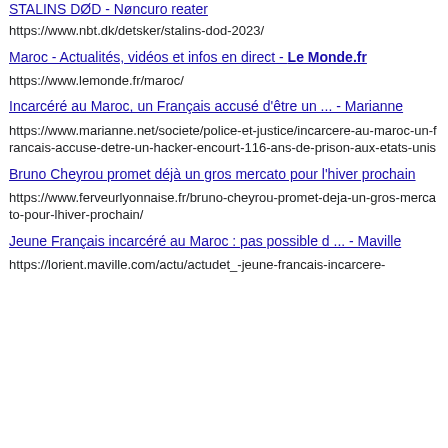STALINS DØD - Nøncuro reater (partial link at top)
https://www.nbt.dk/detsker/stalins-dod-2023/
Maroc - Actualités, vidéos et infos en direct - Le Monde.fr (link)
https://www.lemonde.fr/maroc/
Incarcéré au Maroc, un Français accusé d'être un ... - Marianne (link)
https://www.marianne.net/societe/police-et-justice/incarcere-au-maroc-un-francais-accuse-detre-un-hacker-encourt-116-ans-de-prison-aux-etats-unis
Bruno Cheyrou promet déjà un gros mercato pour l'hiver prochain (link)
https://www.ferveurlyonnaise.fr/bruno-cheyrou-promet-deja-un-gros-mercato-pour-lhiver-prochain/
Jeune Français incarcéré au Maroc : pas possible d ... - Maville (link)
https://lorient.maville.com/actu/actudet_-jeune-francais-incarcere-